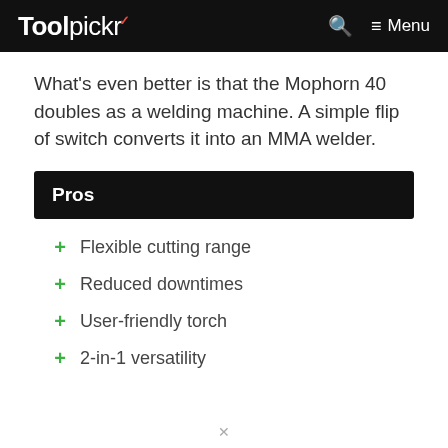Toolpickr  Menu
What's even better is that the Mophorn 40 doubles as a welding machine. A simple flip of switch converts it into an MMA welder.
Pros
Flexible cutting range
Reduced downtimes
User-friendly torch
2-in-1 versatility